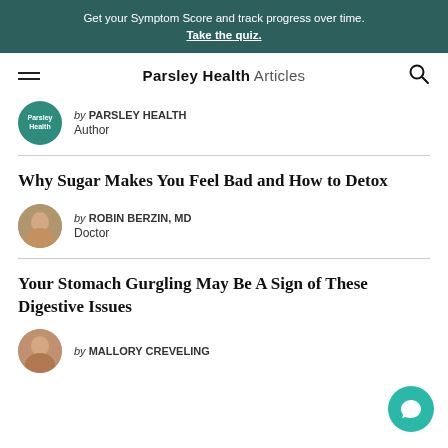Get your Symptom Score and track progress over time. Take the quiz.
Parsley Health Articles
by PARSLEY HEALTH Author
Why Sugar Makes You Feel Bad and How to Detox
by ROBIN BERZIN, MD Doctor
Your Stomach Gurgling May Be A Sign of These Digestive Issues
by MALLORY CREVELING